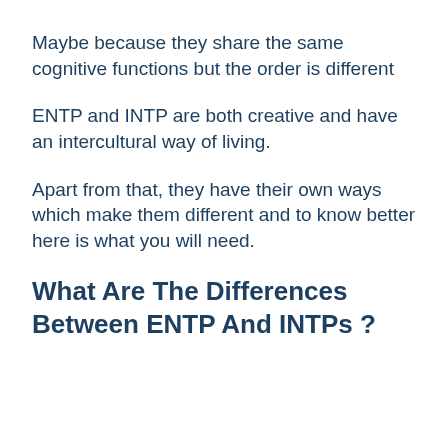Maybe because they share the same cognitive functions but the order is different
ENTP and INTP are both creative and have an intercultural way of living.
Apart from that, they have their own ways which make them different and to know better here is what you will need.
What Are The Differences Between ENTP And INTPs ?